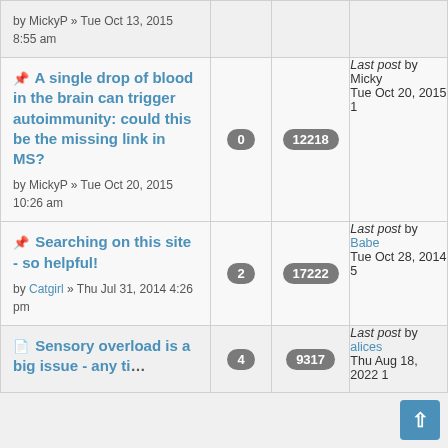| Topic | Replies | Views | Last post |
| --- | --- | --- | --- |
| 📌 A single drop of blood in the brain can trigger autoimmunity: could this be the missing link in MS?
by MickyP » Tue Oct 20, 2015 10:26 am | 0 | 12218 | Last post by Micky
Tue Oct 20, 2015 1 |
| 📌 Searching on this site - so helpful!
by Catgirl » Thu Jul 31, 2014 4:26 pm | 2 | 17222 | Last post by Babe
Tue Oct 28, 2014 5 |
| 📄 Sensory overload is a big issue - any ti… | 4 | 9317 | Last post by alices
Thu Aug 18, 2022 1 |